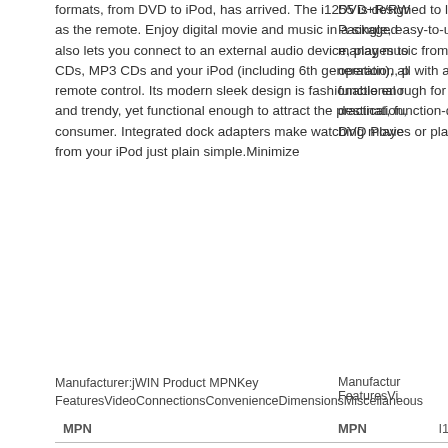formats, from DVD to iPod, has arrived. The i1255 is designed to look as simple as the remote. Enjoy digital movie and music in a single, easy-to-use device that also lets you connect to an external audio device, play music from your Audio CDs, MP3 CDs and your iPod (including 6th generation), all with a compact remote control. Its modern sleek design is fashionable enough for the young and trendy, yet functional enough to attract the practical, function-driven consumer. Integrated dock adapters make watching movies or playing music from your iPod just plain simple.Minimize
DVD+R/RW Packaged manages to operation, p functional r destination, DVD Playe
Manufacturer:jWIN Product MPNKey FeaturesVideoConnectionsConvenienceDimensionsMiscellaneous
Manufactur FeaturesVi
| Field | Value |
| --- | --- |
| MPN | I1255 |
| DVD Type | DVD Player |
| Progressive Scan | With Progressive Scan |
| Playable Disk Types | DVD Video • VCD • CD (Audio) |
| Playable File Formats | MP3 • JPEG |
| Number of Discs | 1 |
| Video Output System | NTSC |
| Picture Control | Contrast • Brightness • Saturation • Zoom |
| Field |
| --- |
| MPN |
| DVD Type |
| Progress |
| Playable |
| Number o |
| Video Ou |
| Picture C |
| Surrounc |
| Outputs |